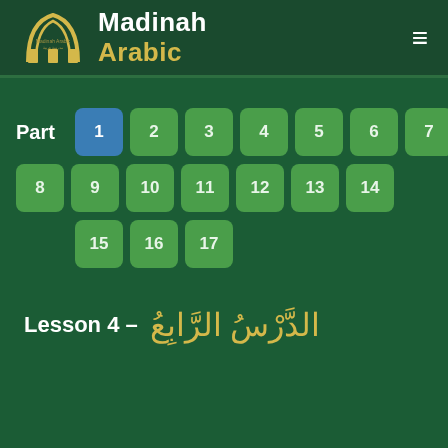Madinah Arabic
Part 1 2 3 4 5 6 7 8 9 10 11 12 13 14 15 16 17
Lesson 4 – الدَّرْسُ الرَّابِعُ